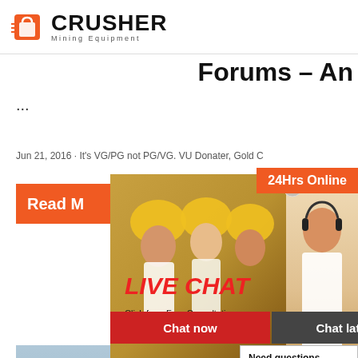CRUSHER Mining Equipment
Forums - An
...
Jun 21, 2016 · It's VG/PG not PG/VG. VU Donater, Gold C
Read M
[Figure (screenshot): Live Chat overlay with workers in hard hats background and female consultant, LIVE CHAT heading in red italic, Click for a Free Consultation text, Chat now and Chat later buttons]
24Hrs Online
[Figure (photo): Mining/industrial facility with conveyor belts and heavy equipment]
Best P
Autom
Espre
Machi
Revie
Need questions & suggestion?
Chat Now
Enquiry
limingjlmofen@sina.com